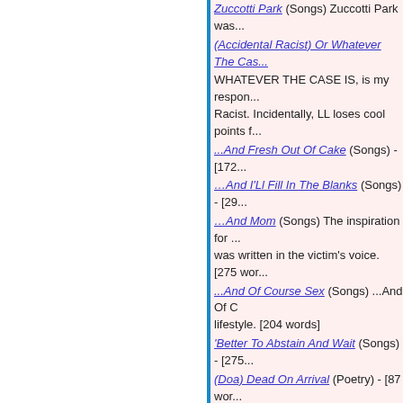Zuccotti Park (Songs) Zuccotti Park was...
(Accidental Racist) Or Whatever The Cas...
WHATEVER THE CASE IS, is my respon... Racist. Incidentally, LL loses cool points f...
...And Fresh Out Of Cake (Songs) - [172...
…And I'Ll Fill In The Blanks (Songs) - [29...
…And Mom (Songs) The inspiration for ... was written in the victim's voice. [275 wor...
...And Of Course Sex (Songs) ...And Of C lifestyle. [204 words]
'Better To Abstain And Wait (Songs) - [275...
(Doa) Dead On Arrival (Poetry) - [87 wor...
…For Never Giving Up On Me (Songs) ... that was inspired by American Idol 2008 r... [316 words]
...Get Back Together Again (Songs) - [126...
'guess That Goes To Show Ya (Songs) G... to the Luke Bryan song that didn't meet w... in Bryan's voice. [217 words]
…His Mother'S Head? (Poetry) - [81 wor...
…I Guess That'S Just Men (Songs) This ... perspective. [250 words]
...In The Dark (Songs) - [160 words]
...It Hasn'T Loved Us Back (Songs) - [259...
...Like I Do (Songs) - [287 words]
...Like You Were Dirt (Songs) ...Like You...
…Missin' A Screw (Songs) ...Missin' A Sc...